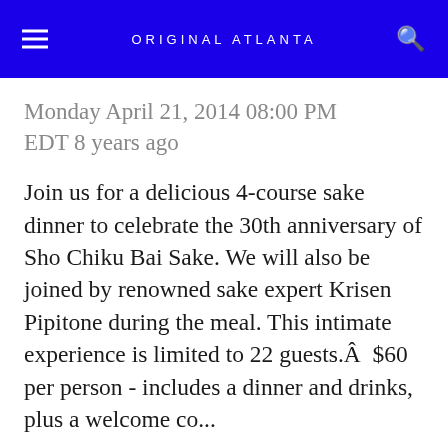ORIGINAL ATLANTA
Monday April 21, 2014 08:00 PM EDT 8 years ago
Join us for a delicious 4-course sake dinner to celebrate the 30th anniversary of Sho Chiku Bai Sake. We will also be joined by renowned sake expert Krisen Pipitone during the meal. This intimate experience is limited to 22 guests.Â  $60 per person - includes a dinner and drinks, plus a welcome co...